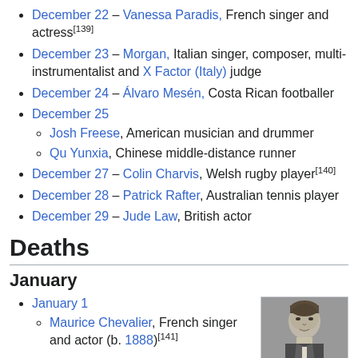December 22 – Vanessa Paradis, French singer and actress[139]
December 23 – Morgan, Italian singer, composer, multi-instrumentalist and X Factor (Italy) judge
December 24 – Álvaro Mesén, Costa Rican footballer
December 25
Josh Freese, American musician and drummer
Qu Yunxia, Chinese middle-distance runner
December 27 – Colin Charvis, Welsh rugby player[140]
December 28 – Patrick Rafter, Australian tennis player
December 29 – Jude Law, British actor
Deaths
January
January 1
Maurice Chevalier, French singer and actor (b. 1888)[141]
[Figure (photo): Black and white portrait photo of Maurice Chevalier]